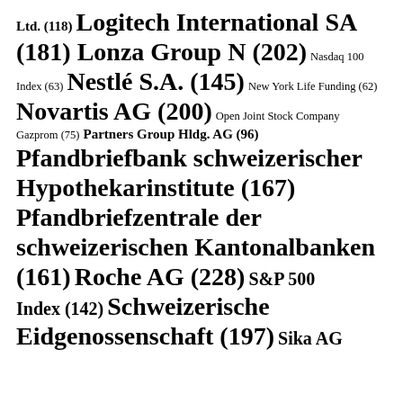Ltd. (118) Logitech International SA (181) Lonza Group N (202) Nasdaq 100 Index (63) Nestlé S.A. (145) New York Life Funding (62) Novartis AG (200) Open Joint Stock Company Gazprom (75) Partners Group Hldg. AG (96) Pfandbriefbank schweizerischer Hypothekarinstitute (167) Pfandbriefzentrale der schweizerischen Kantonalbanken (161) Roche AG (228) S&P 500 Index (142) Schweizerische Eidgenossenschaft (197) Sika AG